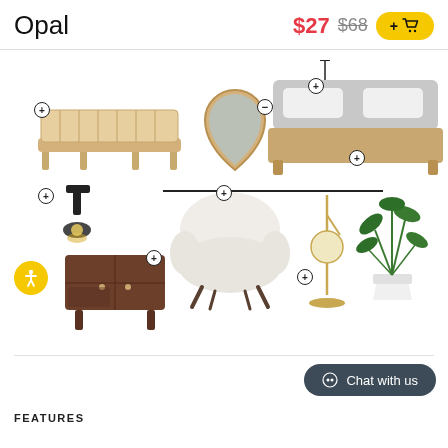Opal
$27 $68
[Figure (screenshot): Product mood board showing various furniture items: a wooden bench, a teardrop mirror, a black pendant light, a platform bed, wall sconces, a white accent chair, a gold floor lamp, a potted plant, and a dark wood TV stand]
Chat with us
FEATURES